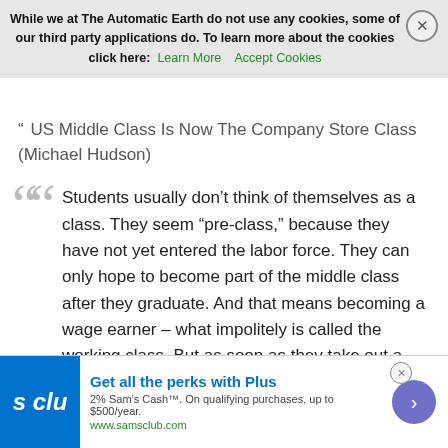While we at The Automatic Earth do not use any cookies, some of our third party applications do. To learn more about the cookies click here: Learn More   Accept Cookies
US Middle Class Is Now The Company Store Class (Michael Hudson)
Students usually don't think of themselves as a class. They seem "pre-class," because they have not yet entered the labor force. They can only hope to become part of the middle class after they graduate. And that means becoming a wage earner – what impolitely is called the working class. But as soon as they take out a student debt, they become part of the economy. They are in this sense a debtor class. But to be a debtor, one needs a means to pay – and the student's means to pay is out of the wages and salaries they may earn after they graduate. And after all, the reason most students get an education is so that they can qualify for a middle-class job. The middle class in America consists of the widening sector of the working class that qualifies for bank loans – not merely usurious short-term payday
[Figure (other): Sam's Club advertisement banner: Get all the perks with Plus. 2% Sam's Cash. On qualifying purchases, up to $500/year. www.samsclub.com]